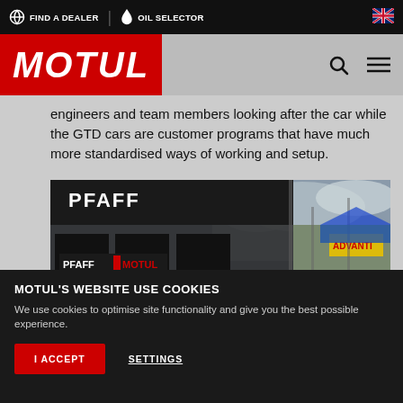FIND A DEALER | OIL SELECTOR
[Figure (logo): MOTUL logo on red background]
engineers and team members looking after the car while the GTD cars are customer programs that have much more standardised ways of working and setup.
[Figure (photo): Racing pit lane scene with PFAFF and MOTUL branded garage, mechanics and race cars in pit area]
MOTUL'S WEBSITE USE COOKIES
We use cookies to optimise site functionality and give you the best possible experience.
I ACCEPT | SETTINGS